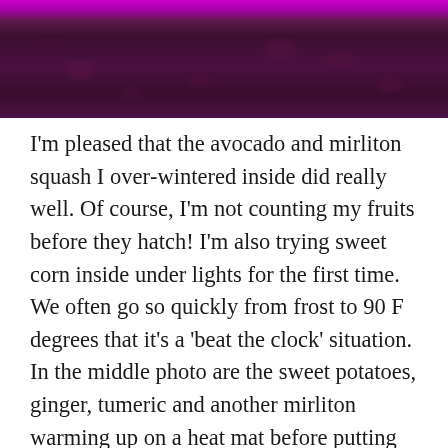[Figure (photo): Decorative banner photo showing a deep purple/magenta fabric with paisley pattern, with bright magenta/pink visible at the top edge.]
I'm pleased that the avocado and mirliton squash I over-wintered inside did really well. Of course, I'm not counting my fruits before they hatch! I'm also trying sweet corn inside under lights for the first time. We often go so quickly from frost to 90 F degrees that it's a 'beat the clock' situation. In the middle photo are the sweet potatoes, ginger, tumeric and another mirliton warming up on a heat mat before putting them in soil to warm some more under lights before transplanting.